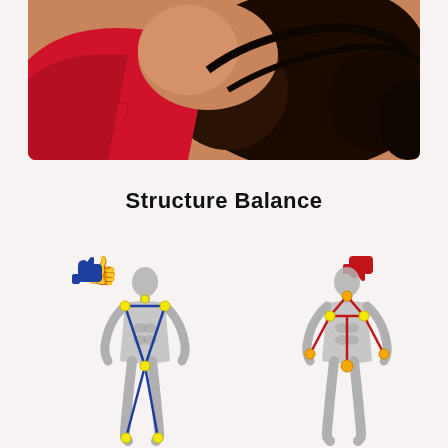[Figure (photo): Close-up photo of a person lying down, wearing a red top, with dark hair spread out. The image is cropped to show the torso/shoulder area from above.]
Structure Balance
[Figure (illustration): Two anatomical body diagrams side by side. Left diagram shows a thumbs-up (blue) icon with a balanced skeleton figure with blue lines connecting joints in a proper alignment (yellow dot markers at shoulders, hips, and feet forming a symmetrical V/triangle pattern). Right diagram shows a thumbs-down (red) icon with a skeleton figure with red lines showing misaligned posture (orange/yellow dot markers at joints with red triangle at neck/chest).]